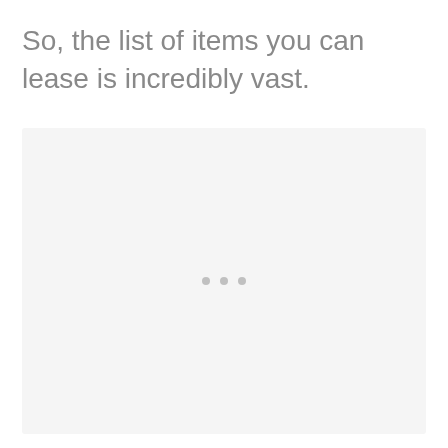So, the list of items you can lease is incredibly vast.
[Figure (other): A light gray placeholder box with three small gray dots centered near the bottom, indicating a loading or placeholder image area.]